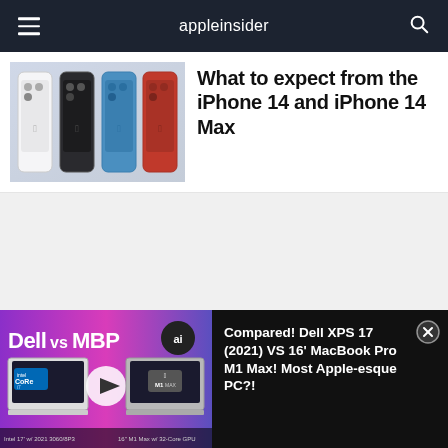appleinsider
[Figure (photo): Four iPhone 14 models in different colors (white, black/graphite, blue, red) lined up side by side]
What to expect from the iPhone 14 and iPhone 14 Max
[Figure (other): Advertisement placeholder (light grey blank area)]
[Figure (screenshot): Video thumbnail showing Dell vs MBP comparison with Intel Core i7 and Apple M1 Max laptops, with a play button overlay and 'ai' logo]
Compared! Dell XPS 17 (2021) VS 16' MacBook Pro M1 Max! Most Apple-esque PC?!